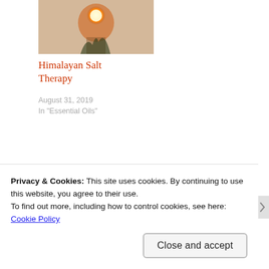[Figure (photo): Himalayan salt lamp glowing orange against a light background, thumbnail image for blog post]
Himalayan Salt Therapy
August 31, 2019
In "Essential Oils"
Share this:
[Figure (other): Social sharing buttons: Twitter (blue circle), Facebook (blue circle), Pinterest (red circle with 10K+ badge)]
Privacy & Cookies: This site uses cookies. By continuing to use this website, you agree to their use.
To find out more, including how to control cookies, see here:
Cookie Policy
Close and accept